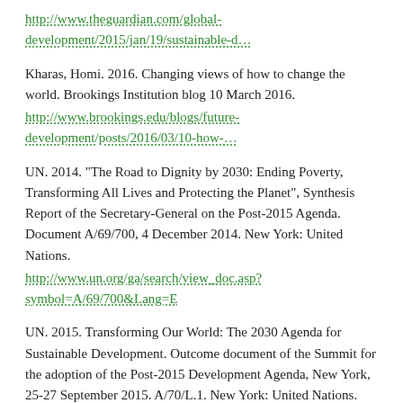http://www.theguardian.com/global-development/2015/jan/19/sustainable-d…
Kharas, Homi. 2016. Changing views of how to change the world. Brookings Institution blog 10 March 2016. http://www.brookings.edu/blogs/future-development/posts/2016/03/10-how-…
UN. 2014. "The Road to Dignity by 2030: Ending Poverty, Transforming All Lives and Protecting the Planet", Synthesis Report of the Secretary-General on the Post-2015 Agenda. Document A/69/700, 4 December 2014. New York: United Nations. http://www.un.org/ga/search/view_doc.asp?symbol=A/69/700&Lang=E
UN. 2015. Transforming Our World: The 2030 Agenda for Sustainable Development. Outcome document of the Summit for the adoption of the Post-2015 Development Agenda, New York, 25-27 September 2015. A/70/L.1. New York: United Nations. http://www.un.org/ga/search/view_doc.asp?symbol=A/70/L.1&Lang=E